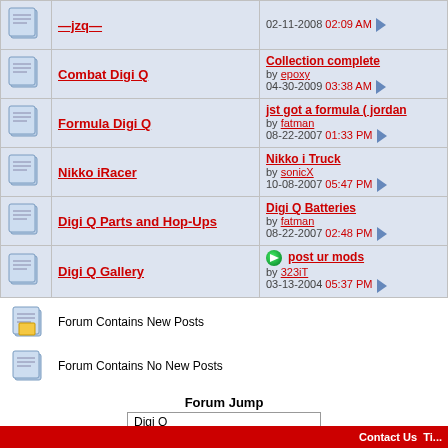| Forum | Last Post |
| --- | --- |
| Combat Digi Q | Collection complete
by epoxy
04-30-2009 03:38 AM |
| Formula Digi Q | jst got a formula ( jordan
by fatman
08-22-2007 01:33 PM |
| Nikko iRacer | Nikko i Truck
by sonicX
10-08-2007 05:47 PM |
| Digi Q Parts and Hop-Ups | Digi Q Batteries
by fatman
08-22-2007 02:48 PM |
| Digi Q Gallery | post ur mods
by 323iT
03-13-2004 05:37 PM |
Forum Contains New Posts
Forum Contains No New Posts
Forum Jump
Digi Q
All times are GMT -5. The time now is 04:45 PM.
Contact Us  Ti...